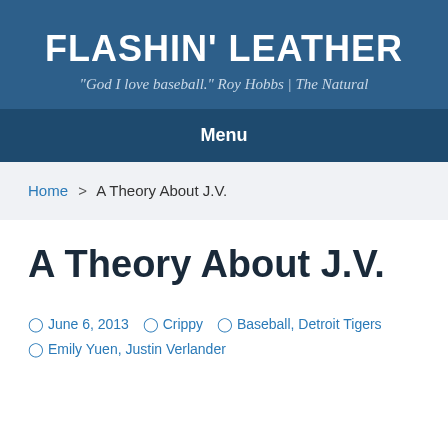FLASHIN' LEATHER
"God I love baseball." Roy Hobbs | The Natural
Menu
Home > A Theory About J.V.
A Theory About J.V.
June 6, 2013  Crippy  Baseball, Detroit Tigers  Emily Yuen, Justin Verlander